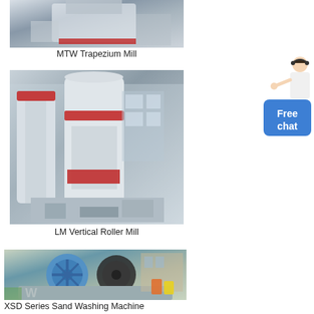[Figure (photo): MTW Trapezium Mill industrial grinding machine, partial top view]
MTW Trapezium Mill
[Figure (photo): LM Vertical Roller Mill large industrial mill with cylindrical towers inside a factory]
LM Vertical Roller Mill
[Figure (photo): XSD Series Sand Washing Machine with blue and dark wheel mechanism outdoors]
XSD Series Sand Washing Machine
[Figure (photo): Partial view of another industrial machine on sand/ground]
[Figure (illustration): Customer service person with Free chat button widget]